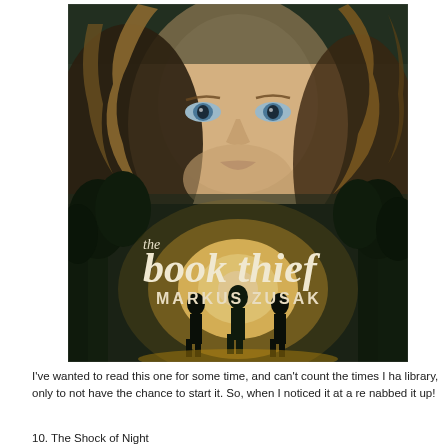[Figure (illustration): Book cover of 'The Book Thief' by Markus Zusak. Features a close-up of a young blonde girl with blue eyes, and in the lower portion three silhouetted figures walking toward a glowing light with trees in the background. Title text 'the book thief' in large italic serif font and 'MARKUS ZUSAK' in capitals below.]
I've wanted to read this one for some time, and can't count the times I ha library, only to not have the chance to start it. So, when I noticed it at a re nabbed it up!
10. The Shock of Night